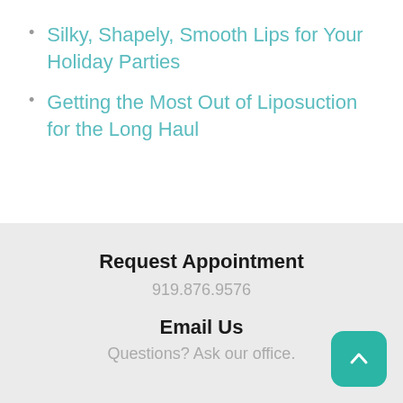Silky, Shapely, Smooth Lips for Your Holiday Parties
Getting the Most Out of Liposuction for the Long Haul
Request Appointment
919.876.9576
Email Us
Questions? Ask our office.